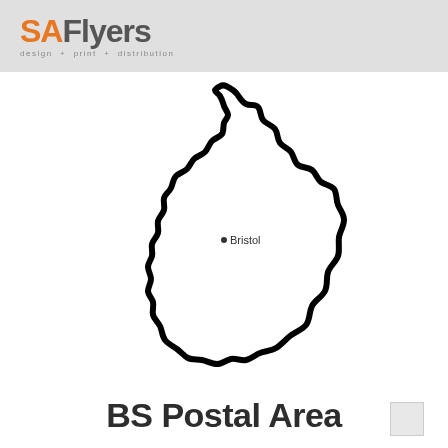SAFlyers design + print + distribution
[Figure (map): Outline map of the BS (Bristol) postal area in the UK, showing the irregular boundary of the region with Bristol city marked with a dot in the interior.]
BS Postal Area